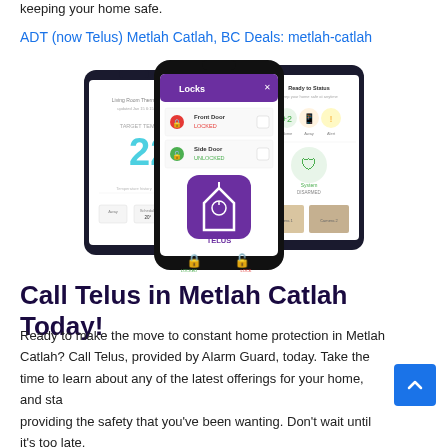keeping your home safe.
ADT (now Telus) Metlah Catlah, BC Deals: metlah-catlah
[Figure (photo): Three smartphones showing the Telus smart home security app interface, including a thermostat screen showing 22 degrees, a locks screen showing Front Door locked and Side Door unlocked, and the Telus app icon with a house symbol.]
Call Telus in Metlah Catlah Today!
Ready to make the move to constant home protection in Metlah Catlah? Call Telus, provided by Alarm Guard, today. Take the time to learn about any of the latest offerings for your home, and stay providing the safety that you've been wanting. Don't wait until it's too late.